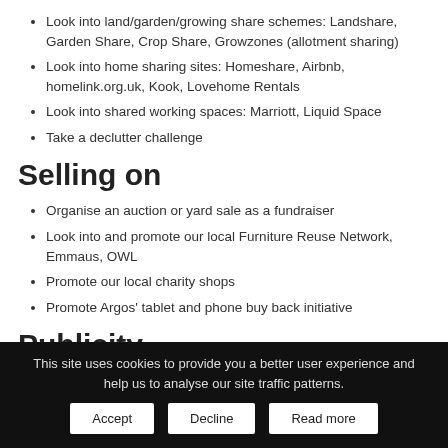Look into land/garden/growing share schemes: Landshare, Garden Share, Crop Share, Growzones (allotment sharing)
Look into home sharing sites: Homeshare, Airbnb, homelink.org.uk, Kook, Lovehome Rentals
Look into shared working spaces: Marriott, Liquid Space
Take a declutter challenge
Selling on
Organise an auction or yard sale as a fundraiser
Look into and promote our local Furniture Reuse Network, Emmaus, OWL
Promote our local charity shops
Promote Argos' tablet and phone buy back initiative
Publicity
This site uses cookies to provide you a better user experience and help us to analyse our site traffic patterns.